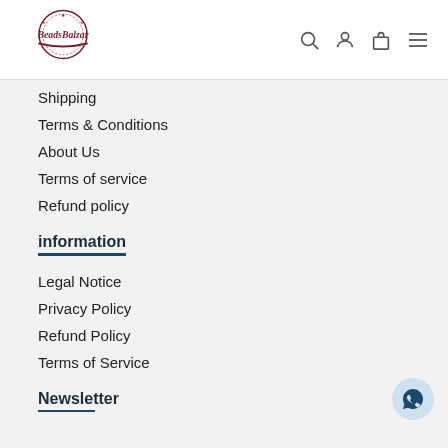[Figure (logo): BeadsBalzar logo — circular badge with stars and swoosh, dark red/maroon script text]
Shipping
Terms & Conditions
About Us
Terms of service
Refund policy
information
Legal Notice
Privacy Policy
Refund Policy
Terms of Service
Newsletter